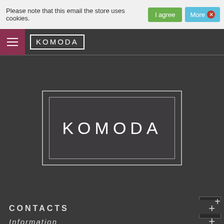Please note that this email the store uses cookies.
[Figure (screenshot): Website screenshot showing KOMODA store with cookie consent bar, navigation, centered KOMODA logo, and footer with CONTACTS and Information sections]
CONTACTS
Information